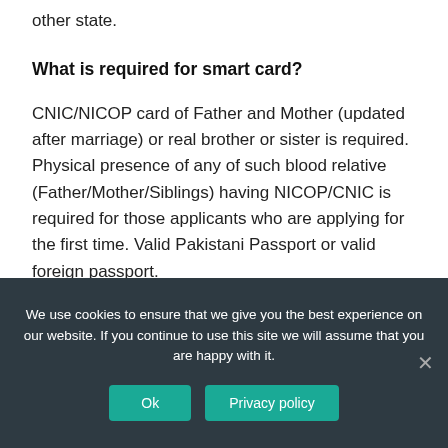other state.
What is required for smart card?
CNIC/NICOP card of Father and Mother (updated after marriage) or real brother or sister is required. Physical presence of any of such blood relative (Father/Mother/Siblings) having NICOP/CNIC is required for those applicants who are applying for the first time. Valid Pakistani Passport or valid foreign passport.
We use cookies to ensure that we give you the best experience on our website. If you continue to use this site we will assume that you are happy with it. Ok Privacy policy